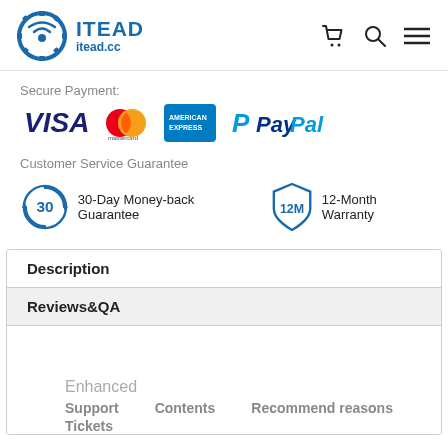[Figure (logo): ITEAD logo with gear/wifi icon and text 'ITEAD itead.cc' in blue]
Secure Payment:
[Figure (infographic): Payment method logos: VISA, Mastercard, American Express, PayPal]
Customer Service Guarantee
[Figure (infographic): 30-Day Money-back Guarantee icon (circle with 30) and 12-Month Warranty icon (shield with 12M)]
| Description |
| Reviews&QA |
| Enhanced
Support Tickets | Contents | Recommend reasons |